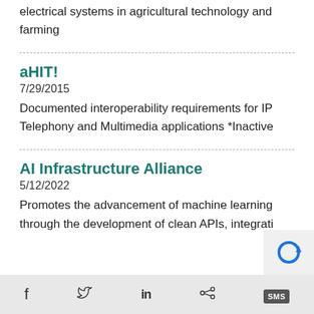electrical systems in agricultural technology and farming
aHIT!
7/29/2015
Documented interoperability requirements for IP Telephony and Multimedia applications *Inactive
AI Infrastructure Alliance
5/12/2022
Promotes the advancement of machine learning through the development of clean APIs, integrati
f  Twitter  in  Share  SMS